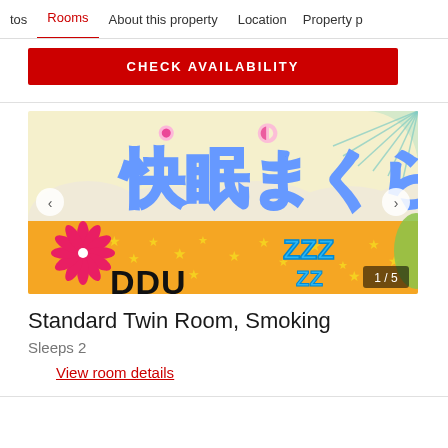tos  Rooms  About this property  Location  Property p
CHECK AVAILABILITY
[Figure (illustration): Japanese hotel room promotional image showing Japanese text '快眠まくら' (comfortable sleep pillow) in blue bubble letters on a cream/yellow background with orange lower section featuring gold stars, pink flower logo, DDU brand logo, and ZZZ sleep symbol in cyan. Carousel navigation arrows on left and right sides.]
Standard Twin Room, Smoking
Sleeps 2
View room details